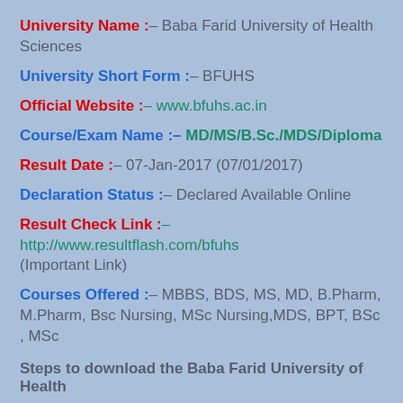University Name :– Baba Farid University of Health Sciences
University Short Form :– BFUHS
Official Website :– www.bfuhs.ac.in
Course/Exam Name :– MD/MS/B.Sc./MDS/Diploma
Result Date :– 07-Jan-2017 (07/01/2017)
Declaration Status :– Declared Available Online
Result Check Link :– http://www.resultflash.com/bfuhs (Important Link)
Courses Offered :– MBBS, BDS, MS, MD, B.Pharm, M.Pharm, Bsc Nursing, MSc Nursing,MDS, BPT, BSc , MSc
Steps to download the Baba Farid University of Health